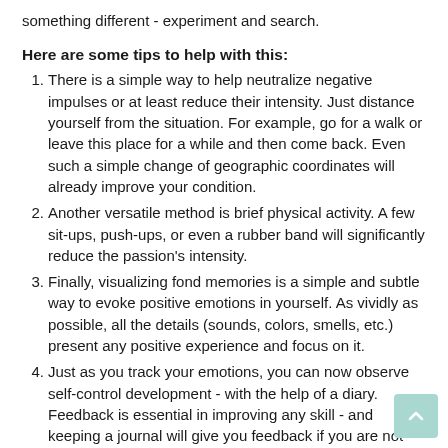something different - experiment and search.
Here are some tips to help with this:
There is a simple way to help neutralize negative impulses or at least reduce their intensity. Just distance yourself from the situation. For example, go for a walk or leave this place for a while and then come back. Even such a simple change of geographic coordinates will already improve your condition.
Another versatile method is brief physical activity. A few sit-ups, push-ups, or even a rubber band will significantly reduce the passion's intensity.
Finally, visualizing fond memories is a simple and subtle way to evoke positive emotions in yourself. As vividly as possible, all the details (sounds, colors, smells, etc.) present any positive experience and focus on it.
Just as you track your emotions, you can now observe self-control development - with the help of a diary. Feedback is essential in improving any skill - and keeping a journal will give you feedback if you are not using a psychologist.